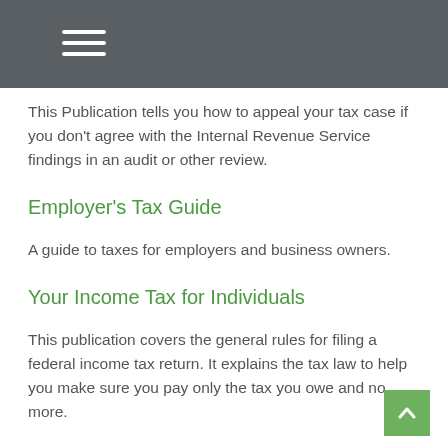This Publication tells you how to appeal your tax case if you don't agree with the Internal Revenue Service findings in an audit or other review.
Employer's Tax Guide
A guide to taxes for employers and business owners.
Your Income Tax for Individuals
This publication covers the general rules for filing a federal income tax return. It explains the tax law to help you make sure you pay only the tax you owe and no more.
Tax Guide for Small Businesses (for individuals who use Schedule C or Schedule C-EZ)